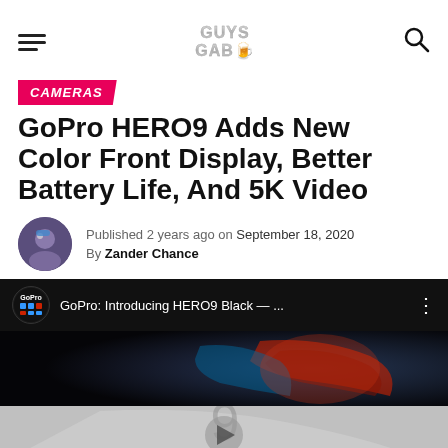Guys Gab - header navigation
CAMERAS
GoPro HERO9 Adds New Color Front Display, Better Battery Life, And 5K Video
Published 2 years ago on September 18, 2020 By Zander Chance
[Figure (screenshot): YouTube video embed showing GoPro: Introducing HERO9 Black — ... with GoPro logo and partial view of camera]